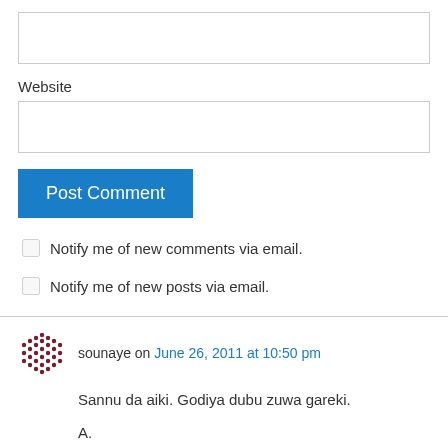[Figure (other): Empty text input box at top of form]
Website
[Figure (other): Website text input field]
Post Comment
Notify me of new comments via email.
Notify me of new posts via email.
sounaye on June 26, 2011 at 10:50 pm
Sannu da aiki. Godiya dubu zuwa gareki.
A.